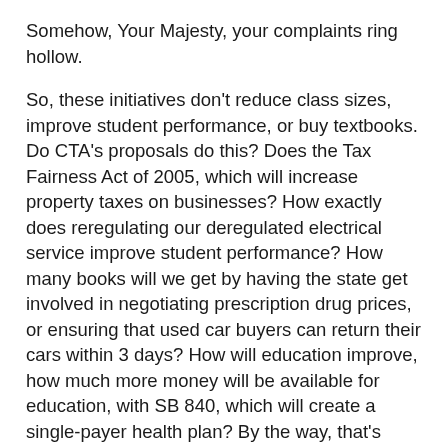Somehow, Your Majesty, your complaints ring hollow.
So, these initiatives don't reduce class sizes, improve student performance, or buy textbooks. Do CTA's proposals do this? Does the Tax Fairness Act of 2005, which will increase property taxes on businesses? How exactly does reregulating our deregulated electrical service improve student performance? How many books will we get by having the state get involved in negotiating prescription drug prices, or ensuring that used car buyers can return their cars within 3 days? How will education improve, how much more money will be available for education, with SB 840, which will create a single-payer health plan? By the way, that's "progressive" talk for socialized, state-run health care.
It's sad that you complain about the governor's doing exactly the same thing that you're doing. There's a word for that, and we all know what it is, Boss.
One final interesting thing I noticed--I've never seen the word "Republican" so often in California Educator. It's almost as if they recognize that there are Republicans in their midst, and